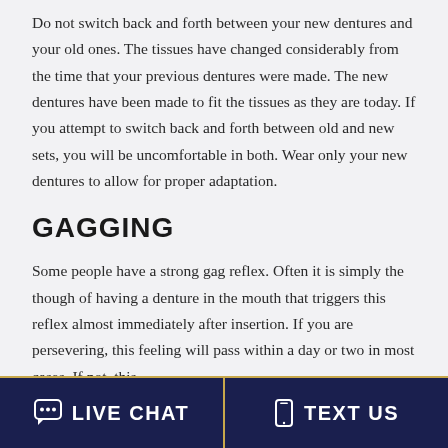Do not switch back and forth between your new dentures and your old ones. The tissues have changed considerably from the time that your previous dentures were made. The new dentures have been made to fit the tissues as they are today. If you attempt to switch back and forth between old and new sets, you will be uncomfortable in both. Wear only your new dentures to allow for proper adaptation.
GAGGING
Some people have a strong gag reflex. Often it is simply the though of having a denture in the mouth that triggers this reflex almost immediately after insertion. If you are persevering, this feeling will pass within a day or two in most cases. If not, this situation should be brought to the back of the den...
LIVE CHAT   TEXT US